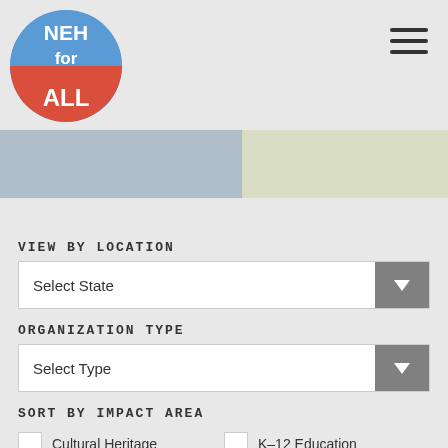[Figure (logo): NEH for ALL circular logo with blue top half and red bottom half, white text]
[Figure (other): Hamburger/navigation menu icon with three horizontal lines]
[Figure (other): Two color bands: blue-gray on left, olive-green on right]
VIEW BY LOCATION
Select State
ORGANIZATION TYPE
Select Type
SORT BY IMPACT AREA
Cultural Heritage
K-12 Education
Cutting-Edge Research
Local Histories
Rural Programming
Lifelong Learning
Local Tourism
Economic Impact